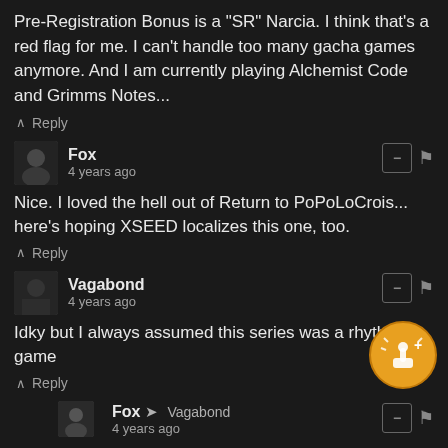Pre-Registration Bonus is a "SR" Narcia. I think that's a red flag for me. I can't handle too many gacha games anymore. And I am currently playing Alchemist Code and Grimms Notes...
Reply
Fox
4 years ago
Nice. I loved the hell out of Return to PoPoLoCrois... here's hoping XSEED localizes this one, too.
Reply
Vagabond
4 years ago
Idky but I always assumed this series was a rhythm game
Reply
Fox → Vagabond
4 years ago
Maybe you're confusing it with Parapa the Rapper (PS2 rhythym game) or Patapon (PSP rhythym game)?